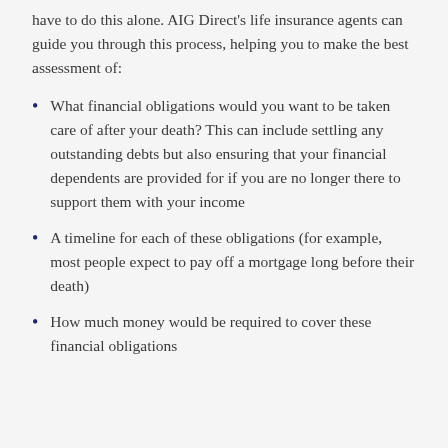have to do this alone. AIG Direct's life insurance agents can guide you through this process, helping you to make the best assessment of:
What financial obligations would you want to be taken care of after your death? This can include settling any outstanding debts but also ensuring that your financial dependents are provided for if you are no longer there to support them with your income
A timeline for each of these obligations (for example, most people expect to pay off a mortgage long before their death)
How much money would be required to cover these financial obligations